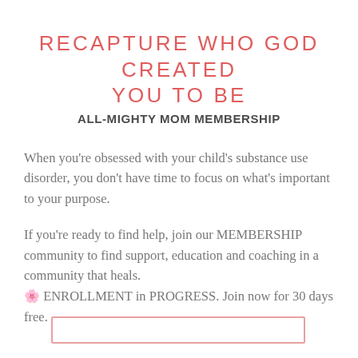RECAPTURE WHO GOD CREATED YOU TO BE
ALL-MIGHTY MOM MEMBERSHIP
When you're obsessed with your child's substance use disorder, you don't have time to focus on what's important to your purpose.
If you're ready to find help, join our MEMBERSHIP community to find support, education and coaching in a community that heals. 🌸 ENROLLMENT in PROGRESS. Join now for 30 days free.
[Figure (other): A rectangular button outline with salmon/pink border at the bottom of the page]